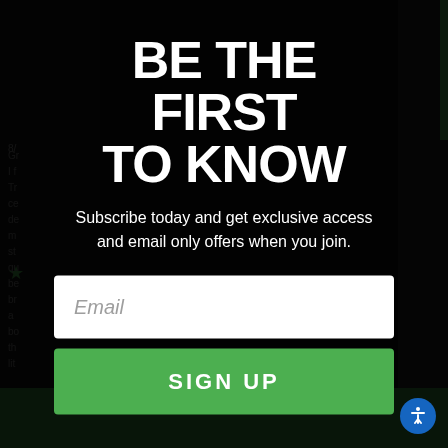BE THE FIRST TO KNOW
Subscribe today and get exclusive access and email only offers when you join.
[Figure (screenshot): Email input field with placeholder text 'Email']
[Figure (screenshot): Green SIGN UP button]
[Figure (screenshot): Blue circular accessibility icon in bottom right corner]